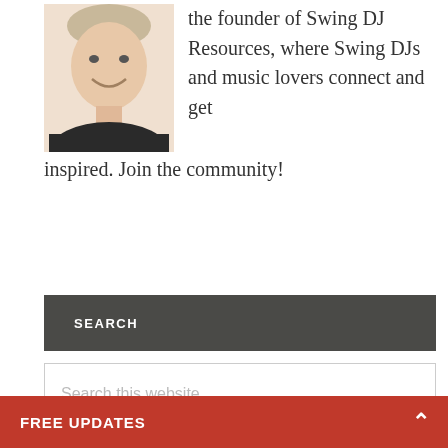[Figure (photo): Headshot of a smiling man wearing a dark shirt, light background]
the founder of Swing DJ Resources, where Swing DJs and music lovers connect and get inspired. Join the community!
SEARCH
Search this website
RECENT POSTS
FREE UPDATES